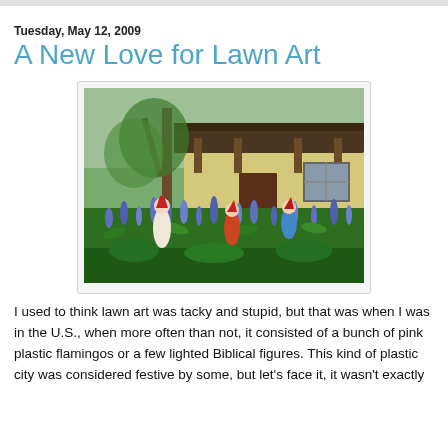Tuesday, May 12, 2009
A New Love for Lawn Art
[Figure (photo): Photo of garden gnomes and a girl figurine among blue flowers (muscari/grape hyacinths) in front of a rustic European-style house with wooden eaves and a window.]
I used to think lawn art was tacky and stupid, but that was when I was in the U.S., when more often than not, it consisted of a bunch of pink plastic flamingos or a few lighted Biblical figures. This kind of plastic city was considered festive by some, but let's face it, it wasn't exactly